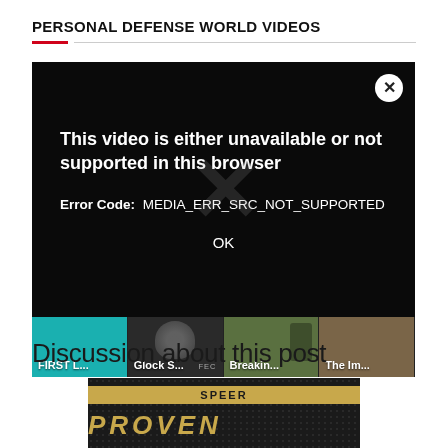PERSONAL DEFENSE WORLD VIDEOS
[Figure (screenshot): Video player showing an error dialog overlay on a dark background. Error message: 'This video is either unavailable or not supported in this browser'. Error Code: MEDIA_ERR_SRC_NOT_SUPPORTED. OK button. Below the dialog is a thumbnail strip with four video thumbnails labeled: FIRST L..., Glock S..., Breakin..., The Im...]
Discussion about this post
[Figure (photo): Speer ammunition advertisement showing the SPEER logo on a gold bar and the word PROVEN in gold lettering on a dark mesh/grid background.]